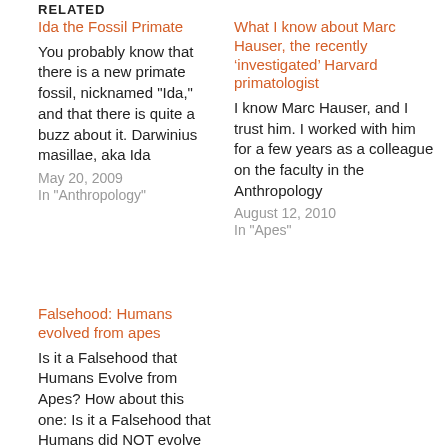RELATED
Ida the Fossil Primate
You probably know that there is a new primate fossil, nicknamed "Ida," and that there is quite a buzz about it. Darwinius masillae, aka Ida
May 20, 2009
In "Anthropology"
What I know about Marc Hauser, the recently ‘investigated’ Harvard primatologist
I know Marc Hauser, and I trust him. I worked with him for a few years as a colleague on the faculty in the Anthropology
August 12, 2010
In "Apes"
Falsehood: Humans evolved from apes
Is it a Falsehood that Humans Evolve from Apes? How about this one: Is it a Falsehood that Humans did NOT evolve from Apes????
June 25, 2010
In "Apes"